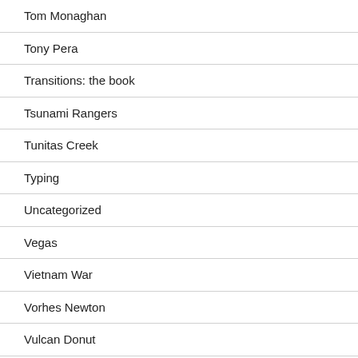Tom Monaghan
Tony Pera
Transitions: the book
Tsunami Rangers
Tunitas Creek
Typing
Uncategorized
Vegas
Vietnam War
Vorhes Newton
Vulcan Donut